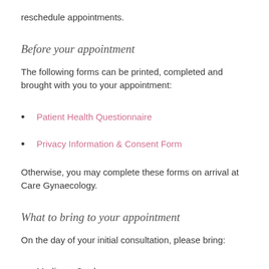reschedule appointments.
Before your appointment
The following forms can be printed, completed and brought with you to your appointment:
Patient Health Questionnaire
Privacy Information & Consent Form
Otherwise, you may complete these forms on arrival at Care Gynaecology.
What to bring to your appointment
On the day of your initial consultation, please bring:
Medicare Card